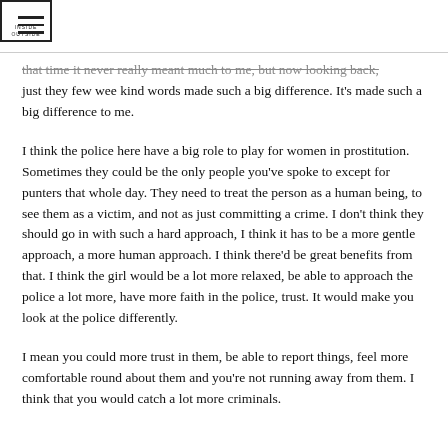INSIDE OUTSIDE logo with hamburger menu
that time it never really meant much to me, but now looking back, just they few wee kind words made such a big difference. It's made such a big difference to me.
I think the police here have a big role to play for women in prostitution. Sometimes they could be the only people you've spoke to except for punters that whole day. They need to treat the person as a human being, to see them as a victim, and not as just committing a crime. I don't think they should go in with such a hard approach, I think it has to be a more gentle approach, a more human approach. I think there'd be great benefits from that. I think the girl would be a lot more relaxed, be able to approach the police a lot more, have more faith in the police, trust. It would make you look at the police differently.
I mean you could more trust in them, be able to report things, feel more comfortable round about them and you're not running away from them. I think that you would catch a lot more criminals.